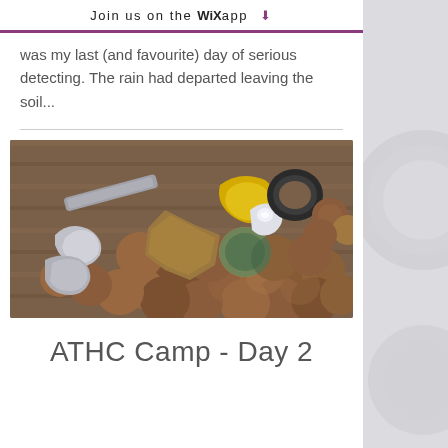Join us on the WiX app ↓
was my last (and favourite) day of serious detecting. The rain had departed leaving the soil...
[Figure (photo): A collection of found coins, rings, and metal detecting artefacts spread on a wooden surface. Includes copper/bronze coins, rings (gold and black), small figurines, and other metal objects.]
ATHC Camp - Day 2